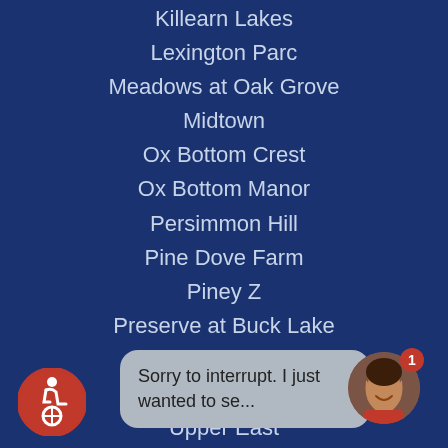Killearn Lakes
Lexington Parc
Meadows at Oak Grove
Midtown
Ox Bottom Crest
Ox Bottom Manor
Persimmon Hill
Pine Dove Farm
Piney Z
Preserve at Buck Lake
Southwood
Summerbrooke
Upper East
Waverly Hills
Weems R...
Woodl...